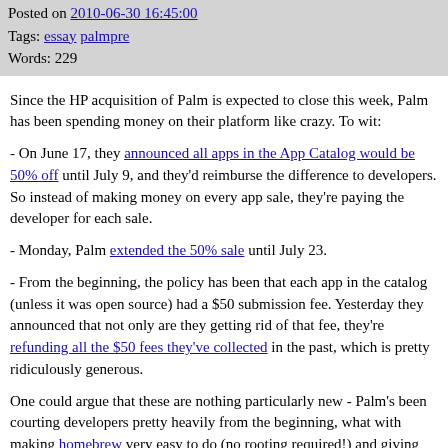Posted on 2010-06-30 16:45:00
Tags: essay palmpre
Words: 229
Since the HP acquisition of Palm is expected to close this week, Palm has been spending money on their platform like crazy. To wit:
- On June 17, they announced all apps in the App Catalog would be 50% off until July 9, and they'd reimburse the difference to developers. So instead of making money on every app sale, they're paying the developer for each sale.
- Monday, Palm extended the 50% sale until July 23.
- From the beginning, the policy has been that each app in the catalog (unless it was open source) had a $50 submission fee. Yesterday they announced that not only are they getting rid of that fee, they're refunding all the $50 fees they've collected in the past, which is pretty ridiculously generous.
One could argue that these are nothing particularly new - Palm's been courting developers pretty heavily from the beginning, what with making homebrew very easy to do (no rooting required!) and giving away $1 million in their Hot Apps competition (of which I'm hoping to collect some), and having another Hot Apps